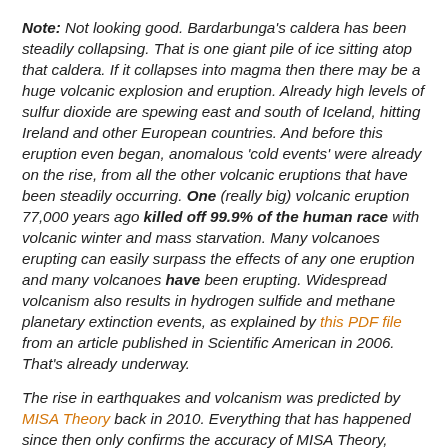Note: Not looking good. Bardarbunga's caldera has been steadily collapsing. That is one giant pile of ice sitting atop that caldera. If it collapses into magma then there may be a huge volcanic explosion and eruption. Already high levels of sulfur dioxide are spewing east and south of Iceland, hitting Ireland and other European countries. And before this eruption even began, anomalous 'cold events' were already on the rise, from all the other volcanic eruptions that have been steadily occurring. One (really big) volcanic eruption 77,000 years ago killed off 99.9% of the human race with volcanic winter and mass starvation. Many volcanoes erupting can easily surpass the effects of any one eruption and many volcanoes have been erupting. Widespread volcanism also results in hydrogen sulfide and methane planetary extinction events, as explained by this PDF file from an article published in Scientific American in 2006. That's already underway.
The rise in earthquakes and volcanism was predicted by MISA Theory back in 2010. Everything that has happened since then only confirms the accuracy of MISA Theory,